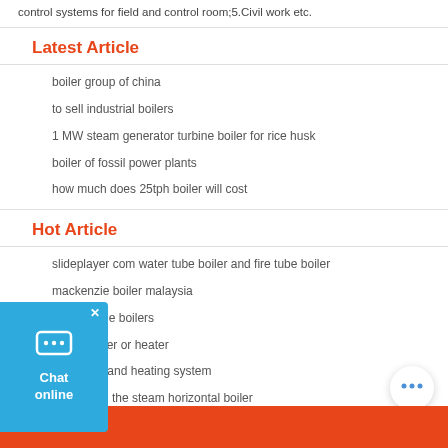control systems for field and control room;5.Civil work etc.
Latest Article
boiler group of china
to sell industrial boilers
1 MW steam generator turbine boiler for rice husk
boiler of fossil power plants
how much does 25tph boiler will cost
Hot Article
slideplayer com water tube boiler and fire tube boiler
mackenzie boiler malaysia
tamanho de boilers
steam boiler or heater
gas boiler and heating system
How much the steam horizontal boiler
© 2016 ZOZEN